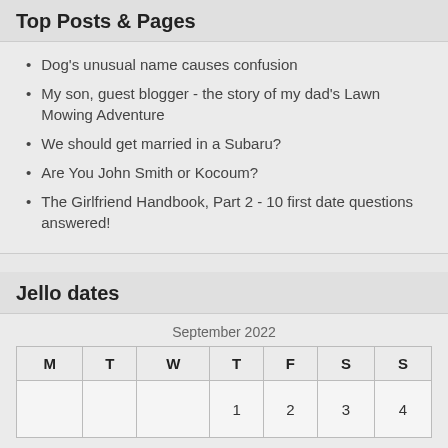Top Posts & Pages
Dog's unusual name causes confusion
My son, guest blogger - the story of my dad's Lawn Mowing Adventure
We should get married in a Subaru?
Are You John Smith or Kocoum?
The Girlfriend Handbook, Part 2 - 10 first date questions answered!
Jello dates
| M | T | W | T | F | S | S |
| --- | --- | --- | --- | --- | --- | --- |
|  |  |  | 1 | 2 | 3 | 4 |